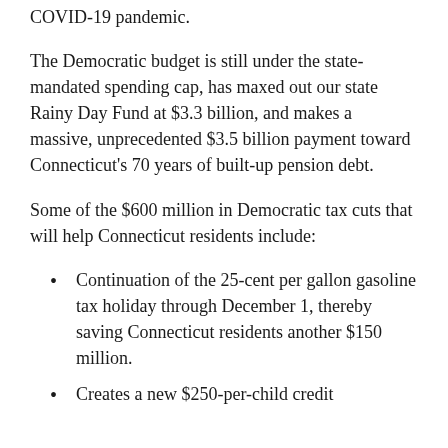COVID-19 pandemic.
The Democratic budget is still under the state-mandated spending cap, has maxed out our state Rainy Day Fund at $3.3 billion, and makes a massive, unprecedented $3.5 billion payment toward Connecticut's 70 years of built-up pension debt.
Some of the $600 million in Democratic tax cuts that will help Connecticut residents include:
Continuation of the 25-cent per gallon gasoline tax holiday through December 1, thereby saving Connecticut residents another $150 million.
Creates a new $250-per-child credit